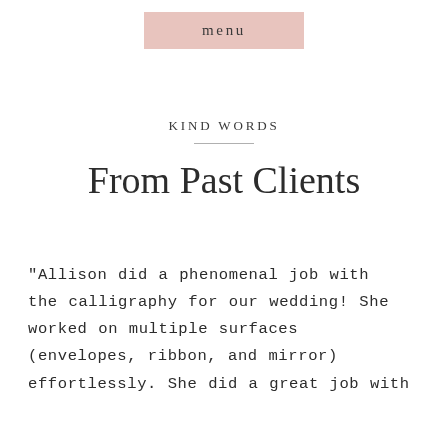menu
KIND WORDS
From Past Clients
"Allison did a phenomenal job with the calligraphy for our wedding! She worked on multiple surfaces (envelopes, ribbon, and mirror) effortlessly. She did a great job with